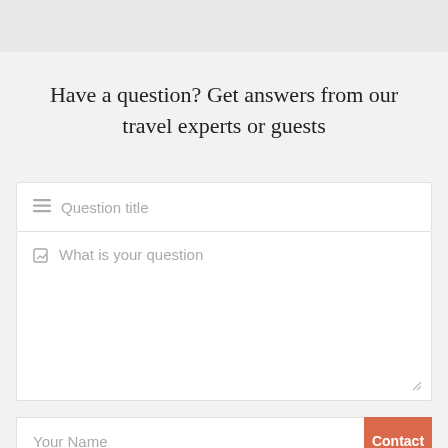[Figure (screenshot): Top grey banner bar]
Have a question? Get answers from our travel experts or guests
[Figure (screenshot): Web form with fields: Question title (text input), What is your question (textarea), Your Name (text input with Contact button), Your Email (text input with upload/scroll-top button)]